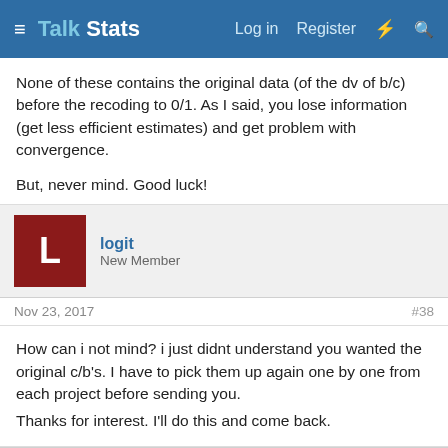Talk Stats — Log in  Register
None of these contains the original data (of the dv of b/c) before the recoding to 0/1. As I said, you lose information (get less efficient estimates) and get problem with convergence.

But, never mind. Good luck!
logit
New Member
Nov 23, 2017  #38
How can i not mind? i just didnt understand you wanted the original c/b's. I have to pick them up again one by one from each project before sending you.
Thanks for interest. I'll do this and come back.
logit
New Member